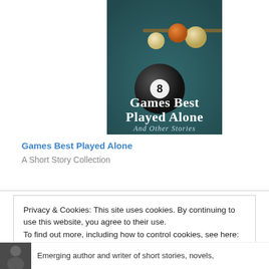[Figure (illustration): Book cover for 'Games Best Played Alone And Other Stories' showing billiard balls on a green felt table, with the 8-ball in foreground. Title text in white serif font overlaid on the image.]
Games Best Played Alone
A Short Story Collection
Privacy & Cookies: This site uses cookies. By continuing to use this website, you agree to their use. To find out more, including how to control cookies, see here: Cookie Policy
Emerging author and writer of short stories, novels,